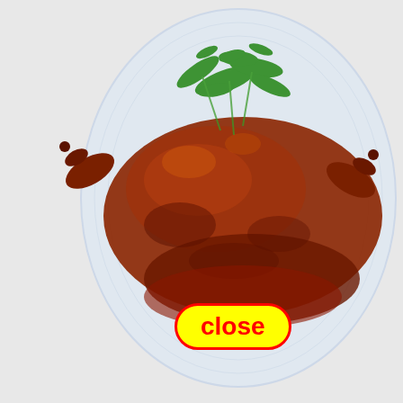[Figure (photo): A roasted duck or chicken dish on a white oval plate, garnished with fresh green herbs/cilantro, glazed with a dark sauce. The dish appears to be Chinese-style roasted poultry.]
[Figure (screenshot): A red-bordered yellow close button/badge overlaid on the food photo, with the word 'close' in bold red text on a yellow pill-shaped background with a red border.]
Chine... uce
Koshe...
[Figure (other): A large bright yellow rectangle with a thick red border, overlaying part of the page as a UI modal or overlay element.]
[Figure (photo): A partially visible food photo at the bottom of the page showing a table setting with red and white checkered or dotted fabric/napkin.]